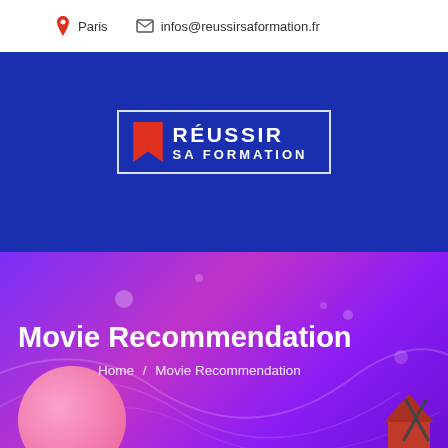Paris   infos@reussirsaformation.fr
[Figure (logo): Réussir Sa Formation logo — red bookmark icon, white text 'RÉUSSIR SA FORMATION' inside a white bordered box on blue background]
Movie Recommendation
Home / Movie Recommendation